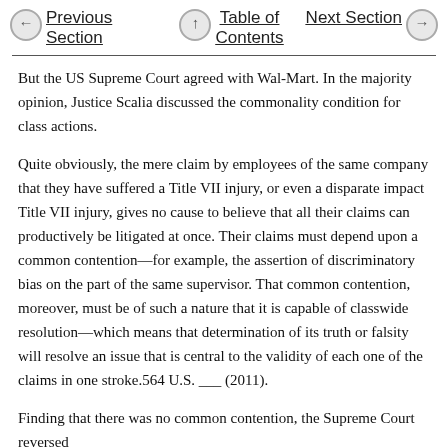Previous Section   Table of Contents   Next Section
But the US Supreme Court agreed with Wal-Mart. In the majority opinion, Justice Scalia discussed the commonality condition for class actions.
Quite obviously, the mere claim by employees of the same company that they have suffered a Title VII injury, or even a disparate impact Title VII injury, gives no cause to believe that all their claims can productively be litigated at once. Their claims must depend upon a common contention—for example, the assertion of discriminatory bias on the part of the same supervisor. That common contention, moreover, must be of such a nature that it is capable of classwide resolution—which means that determination of its truth or falsity will resolve an issue that is central to the validity of each one of the claims in one stroke.564 U.S. ___ (2011).
Finding that there was no common contention, the Supreme Court reversed